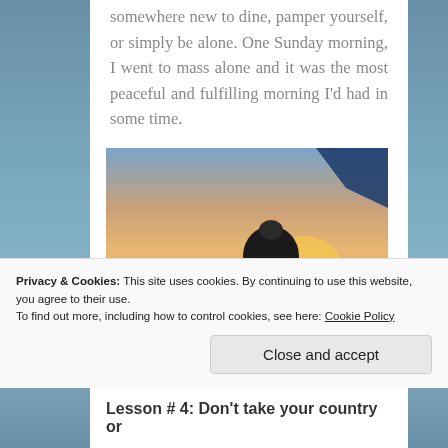somewhere new to dine, pamper yourself, or simply be alone. One Sunday morning, I went to mass alone and it was the most peaceful and fulfilling morning I'd had in some time.
[Figure (photo): A person viewed from behind sitting on a boat watching a sunset over the ocean, with a blue canopy visible in the upper right corner.]
Privacy & Cookies: This site uses cookies. By continuing to use this website, you agree to their use. To find out more, including how to control cookies, see here: Cookie Policy
Close and accept
Lesson # 4: Don't take your country or